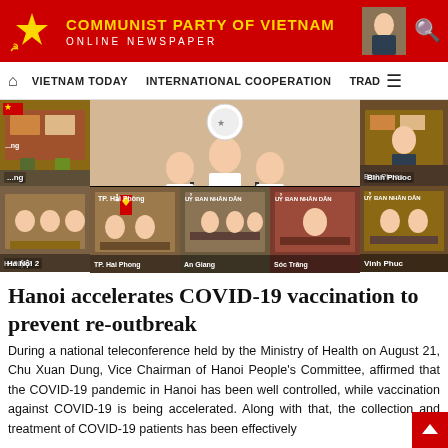COMMUNIST PARTY OF VIETNAM ONLINE NEWSPAPER
VIETNAM TODAY  INTERNATIONAL COOPERATION  TRAD
[Figure (photo): Video conference grid showing multiple locations: Ha Nam, TP. Ha Noi (main/center), Binh Phuoc, Nghe An top-left, Vinh Phuc top-right, Hanoi 2 bottom-left, TP. Hai Phong bottom-center, An Giang bottom-center-right, Soc Trang bottom-right]
Hanoi accelerates COVID-19 vaccination to prevent re-outbreak
During a national teleconference held by the Ministry of Health on August 21, Chu Xuan Dung, Vice Chairman of Hanoi People's Committee, affirmed that the COVID-19 pandemic in Hanoi has been well controlled, while vaccination against COVID-19 is being accelerated. Along with that, the collection and treatment of COVID-19 patients has been effectively